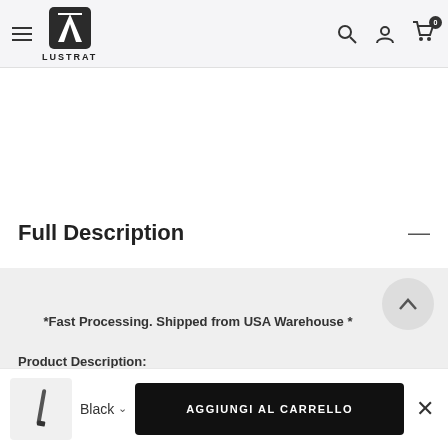LUSTRAT navigation header with logo, search, account, and cart icons
Full Description —
*Fast Processing. Shipped from USA Warehouse *
Product Description:
Black ∨  AGGIUNGI AL CARRELLO  ×